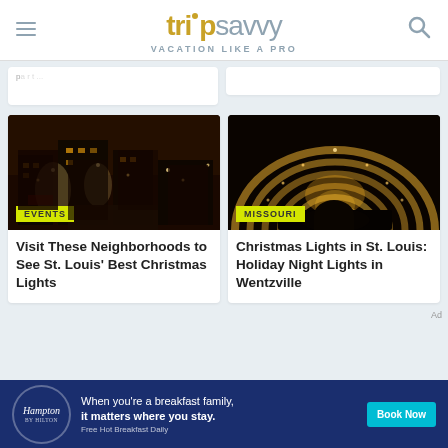tripsavvy — VACATION LIKE A PRO
[Figure (photo): Christmas lights on St. Louis neighborhood buildings at night with decorated trees]
EVENTS
Visit These Neighborhoods to See St. Louis' Best Christmas Lights
[Figure (photo): Tunnel of Christmas lights in Wentzville, Missouri]
MISSOURI
Christmas Lights in St. Louis: Holiday Night Lights in Wentzville
[Figure (photo): Hampton by Hilton advertisement — When you're a breakfast family, it matters where you stay. Book Now. Free Hot Breakfast Daily.]